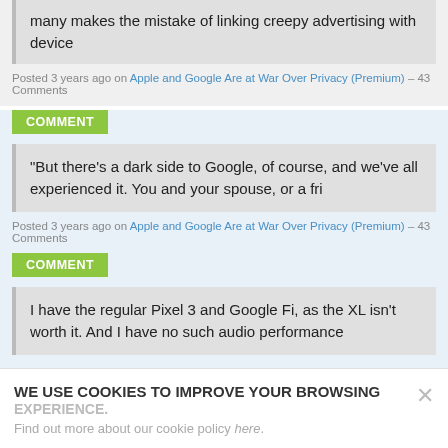many makes the mistake of linking creepy advertising with device
Posted 3 years ago on Apple and Google Are at War Over Privacy (Premium) – 43 Comments
COMMENT
"But there's a dark side to Google, of course, and we've all experienced it. You and your spouse, or a fri
Posted 3 years ago on Apple and Google Are at War Over Privacy (Premium) – 43 Comments
COMMENT
I have the regular Pixel 3 and Google Fi, as the XL isn't worth it. And I have no such audio performance
WE USE COOKIES TO IMPROVE YOUR BROWSING EXPERIENCE. Find out more about our cookie policy here.